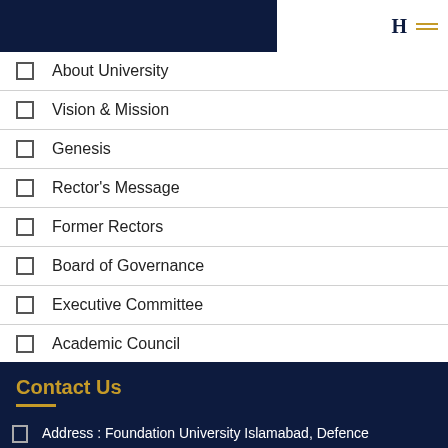Navigation menu header bar
About University
Vision & Mission
Genesis
Rector's Message
Former Rectors
Board of Governance
Executive Committee
Academic Council
FUI Ordinance, 2002
Contact Us
Contact Us
Address : Foundation University Islamabad, Defence